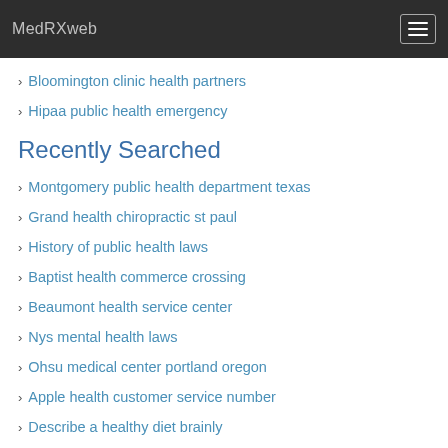MedRXweb
Bloomington clinic health partners
Hipaa public health emergency
Recently Searched
Montgomery public health department texas
Grand health chiropractic st paul
History of public health laws
Baptist health commerce crossing
Beaumont health service center
Nys mental health laws
Ohsu medical center portland oregon
Apple health customer service number
Describe a healthy diet brainly
No health questions term life